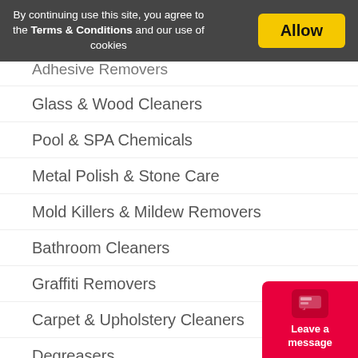By continuing use this site, you agree to the Terms & Conditions and our use of cookies.
Adhesive Removers
Glass & Wood Cleaners
Pool & SPA Chemicals
Metal Polish & Stone Care
Mold Killers & Mildew Removers
Bathroom Cleaners
Graffiti Removers
Carpet & Upholstery Cleaners
Degreasers
Fabric Stain Removers
Detergents & Odor Control
Wet Cleaning & Dispensers
Hygiene & Restroom Supplies
Hand Soap & Dispensers
Hand Sanitizer & Dispensers
[Figure (illustration): Red chat widget button with speech bubble icon, labeled 'Leave a message']